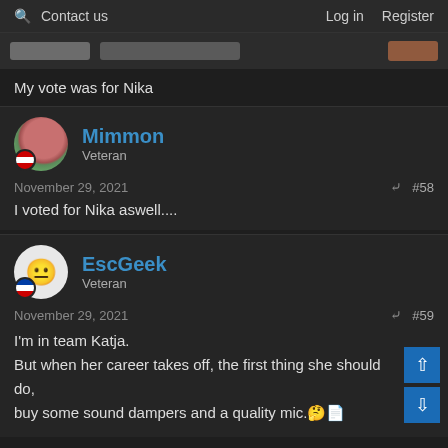🔍 Contact us   Log in  Register
[Figure (screenshot): Blurred banner/advertisement area]
My vote was for Nika
Mimmon
Veteran
November 29, 2021  #58
I voted for Nika aswell....
EscGeek
Veteran
November 29, 2021  #59
I'm in team Katja.
But when her career takes off, the first thing she should do, buy some sound dampers and a quality mic.